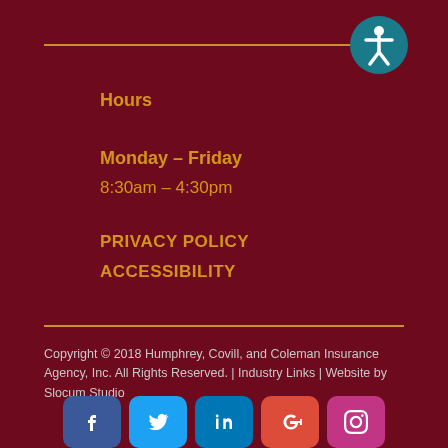[Figure (logo): Accessibility icon: circular dark teal badge with white person figure in universal accessibility pose]
Hours
Monday – Friday
8:30am – 4:30pm
PRIVACY POLICY
ACCESSIBILITY
Copyright © 2018 Humphrey, Covill, and Coleman Insurance Agency, Inc. All Rights Reserved. | Industry Links | Website by Slocum Studio
[Figure (logo): Social media icons row: Facebook, Twitter, LinkedIn, Google+, Instagram]